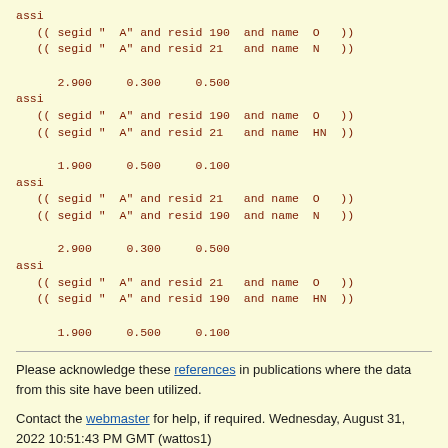assi
  (( segid "  A" and resid 190  and name  O   ))
  (( segid "  A" and resid 21   and name  N   ))

     2.900     0.300     0.500
assi
  (( segid "  A" and resid 190  and name  O   ))
  (( segid "  A" and resid 21   and name  HN  ))

     1.900     0.500     0.100
assi
  (( segid "  A" and resid 21   and name  O   ))
  (( segid "  A" and resid 190  and name  N   ))

     2.900     0.300     0.500
assi
  (( segid "  A" and resid 21   and name  O   ))
  (( segid "  A" and resid 190  and name  HN  ))

     1.900     0.500     0.100
Please acknowledge these references in publications where the data from this site have been utilized.
Contact the webmaster for help, if required. Wednesday, August 31, 2022 10:51:43 PM GMT (wattos1)